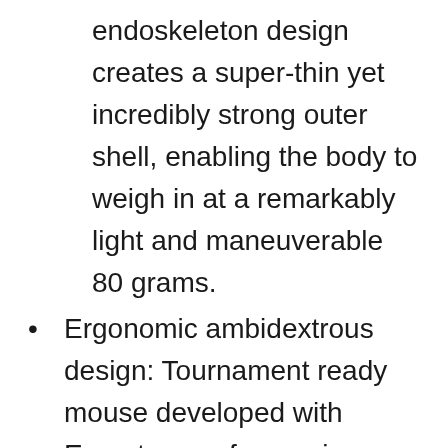endoskeleton design creates a super-thin yet incredibly strong outer shell, enabling the body to weigh in at a remarkably light and maneuverable 80 grams.
Ergonomic ambidextrous design: Tournament ready mouse developed with Esports pros for maximum comfort, control and 50 million click durability. Four removable side buttons for supreme customization. Cable length: 1.80 meters
Note: Kindly refer user guide